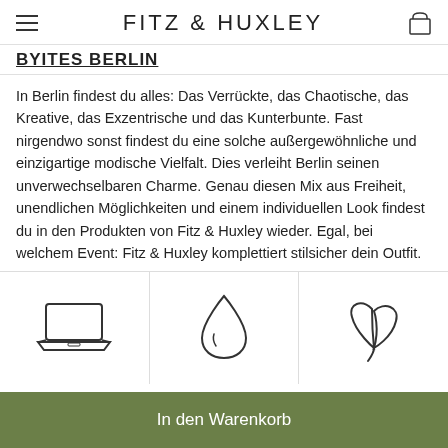FITZ & HUXLEY
BYITES BERLIN
In Berlin findest du alles: Das Verrückte, das Chaotische, das Kreative, das Exzentrische und das Kunterbunte. Fast nirgendwo sonst findest du eine solche außergewöhnliche und einzigartige modische Vielfalt. Dies verleiht Berlin seinen unverwechselbaren Charme. Genau diesen Mix aus Freiheit, unendlichen Möglichkeiten und einem individuellen Look findest du in den Produkten von Fitz & Huxley wieder. Egal, bei welchem Event: Fitz & Huxley komplettiert stilsicher dein Outfit.
[Figure (illustration): Laptop icon outline]
[Figure (illustration): Water drop icon outline]
[Figure (illustration): Leaf/plant icon outline]
In den Warenkorb